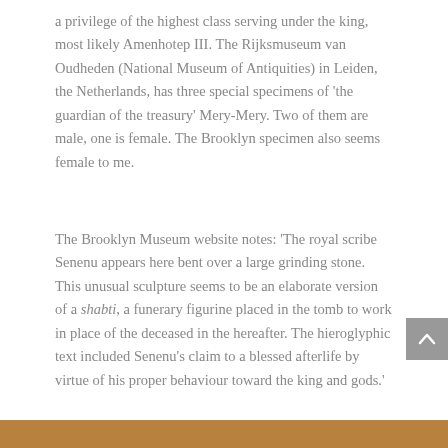a privilege of the highest class serving under the king, most likely Amenhotep III. The Rijksmuseum van Oudheden (National Museum of Antiquities) in Leiden, the Netherlands, has three special specimens of 'the guardian of the treasury' Mery-Mery. Two of them are male, one is female. The Brooklyn specimen also seems female to me.
The Brooklyn Museum website notes: 'The royal scribe Senenu appears here bent over a large grinding stone. This unusual sculpture seems to be an elaborate version of a shabti, a funerary figurine placed in the tomb to work in place of the deceased in the hereafter. The hieroglyphic text included Senenu's claim to a blessed afterlife by virtue of his proper behaviour toward the king and gods.'
[Figure (photo): Bottom strip showing the top edge of a photograph of an ancient Egyptian artifact or scene, brownish/tan colored.]